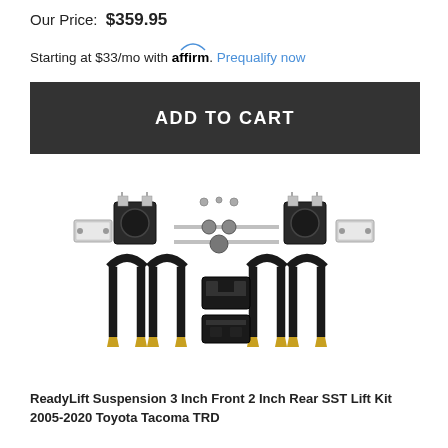Our Price: $359.95
Starting at $33/mo with affirm. Prequalify now
ADD TO CART
[Figure (photo): ReadyLift suspension lift kit components including strut spacers, U-bolts, block spacers, and hardware on white background]
ReadyLift Suspension 3 Inch Front 2 Inch Rear SST Lift Kit 2005-2020 Toyota Tacoma TRD